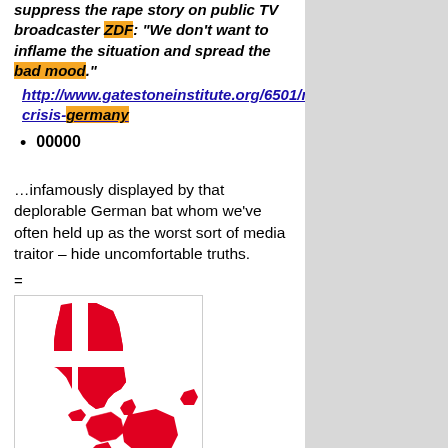suppress the rape story on public TV broadcaster ZDF: "We don't want to inflame the situation and spread the bad mood."
http://www.gatestoneinstitute.org/6501/migratcrisis-germany
00000
…infamously displayed by that deplorable German bat whom we've often held up as the worst sort of media traitor – hide uncomfortable truths.
=
[Figure (map): Map of Denmark showing regions in red on white background with white cross (Danish flag pattern overlay)]
However, let's move on, while sticking to Denmark..
Dimwit Dane Jury Gives Apostate Bitch A Slap On